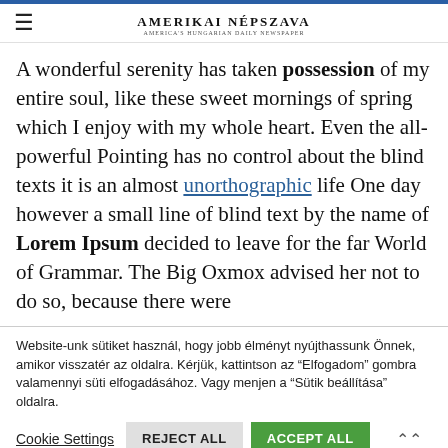≡  AMERIKAI NÉPSZAVA
A wonderful serenity has taken possession of my entire soul, like these sweet mornings of spring which I enjoy with my whole heart. Even the all-powerful Pointing has no control about the blind texts it is an almost unorthographic life One day however a small line of blind text by the name of Lorem Ipsum decided to leave for the far World of Grammar. The Big Oxmox advised her not to do so, because there were
Website-unk sütiket használ, hogy jobb élményt nyújthassunk Önnek, amikor visszatér az oldalra. Kérjük, kattintson az "Elfogadom" gombra valamennyi süti elfogadásához. Vagy menjen a "Sütik beállítása" oldalra.
Cookie Settings
REJECT ALL
ACCEPT ALL